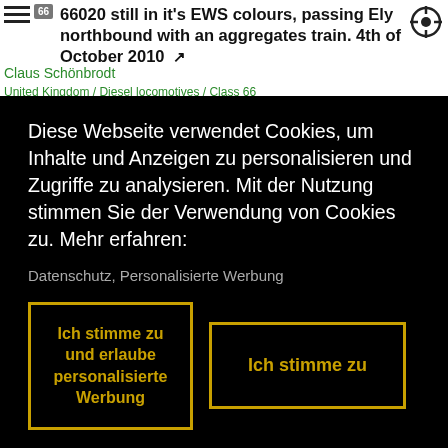66020 still in it's EWS colours, passing Ely northbound with an aggregates train. 4th of October 2010
Claus Schönbrodt
United Kingdom / Diesel locomotives / Class 66
Diese Webseite verwendet Cookies, um Inhalte und Anzeigen zu personalisieren und Zugriffe zu analysieren. Mit der Nutzung stimmen Sie der Verwendung von Cookies zu. Mehr erfahren:
Datenschutz, Personalisierte Werbung
Ich stimme zu und erlaube personalisierte Werbung
Ich stimme zu
[Figure (photo): Partial bottom strip showing a thumbnail photo of a train/locomotive, partially visible at bottom of page]